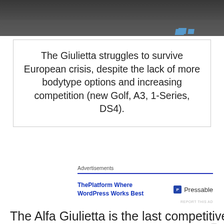[Figure (photo): Top portion of a car photo on dark asphalt, cropped, with blue chevron marks visible at bottom right]
The Giulietta struggles to survive European crisis, despite the lack of more bodytype options and increasing competition (new Golf, A3, 1-Series, DS4).
Advertisements
ThePlatform Where WordPress Works Best
Pressable
REPORT THIS AD
The Alfa Giulietta is the last competitive
Advertisements
REPORT THIS AD